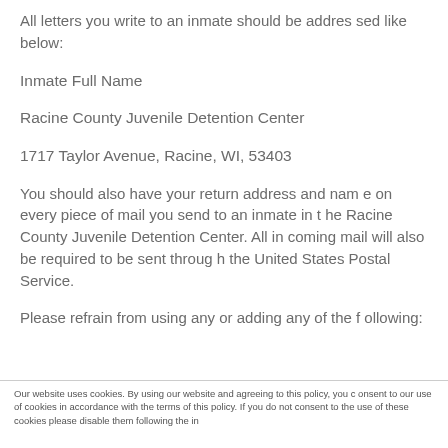All letters you write to an inmate should be addressed like below:
Inmate Full Name
Racine County Juvenile Detention Center
1717 Taylor Avenue, Racine, WI, 53403
You should also have your return address and name on every piece of mail you send to an inmate in the Racine County Juvenile Detention Center. All incoming mail will also be required to be sent through the United States Postal Service.
Please refrain from using any or adding any of the following:
Our website uses cookies. By using our website and agreeing to this policy, you consent to our use of cookies in accordance with the terms of this policy. If you do not consent to the use of these cookies please disable them following the in